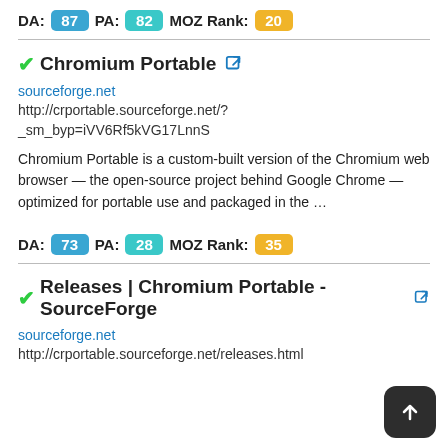DA: 87  PA: 82  MOZ Rank: 20
Chromium Portable
sourceforge.net
http://crportable.sourceforge.net/?_sm_byp=iVV6Rf5kVG17LnnS
Chromium Portable is a custom-built version of the Chromium web browser — the open-source project behind Google Chrome — optimized for portable use and packaged in the …
DA: 73  PA: 28  MOZ Rank: 35
Releases | Chromium Portable - SourceForge
sourceforge.net
http://crportable.sourceforge.net/releases.html